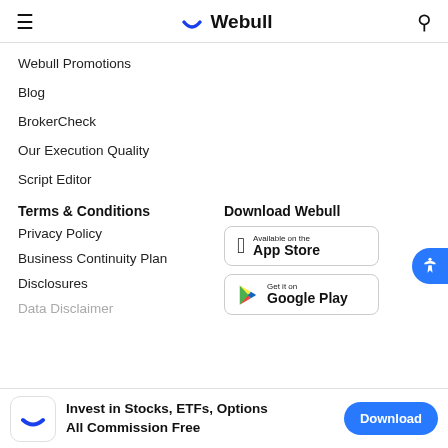Webull
Webull Promotions
Blog
BrokerCheck
Our Execution Quality
Script Editor
Terms & Conditions
Privacy Policy
Business Continuity Plan
Disclosures
Data Disclaimer
Download Webull
[Figure (screenshot): Available on the App Store button]
[Figure (screenshot): Get it on Google Play button]
Invest in Stocks, ETFs, Options All Commission Free
Download